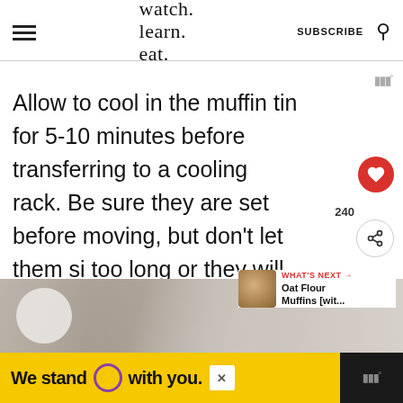watch. learn. eat. | SUBSCRIBE
Allow to cool in the muffin tin for 5-10 minutes before transferring to a cooling rack. Be sure they are set before moving, but don't let them sit too long or they will get soggy.
[Figure (photo): Photo strip of muffins/food on wooden surface]
[Figure (infographic): Advertisement banner: We stand O with you. Yellow background with purple circle logo.]